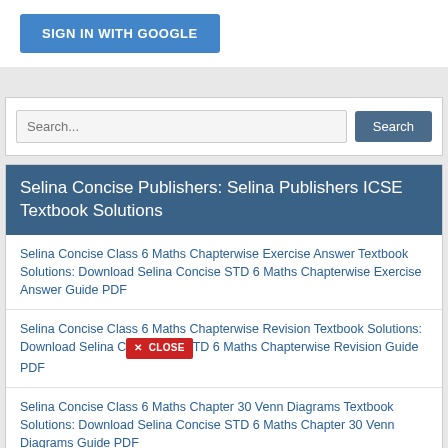[Figure (screenshot): Sign in with Google button — blue rectangular button with white bold text]
[Figure (screenshot): Search bar with text input field placeholder 'Search...' and a dark blue 'Search' button]
Selina Concise Publishers: Selina Publishers ICSE Textbook Solutions
Selina Concise Class 6 Maths Chapterwise Exercise Answer Textbook Solutions: Download Selina Concise STD 6 Maths Chapterwise Exercise Answer Guide PDF
Selina Concise Class 6 Maths Chapterwise Revision Textbook Solutions: Download Selina Concise STD 6 Maths Chapterwise Revision Guide PDF
Selina Concise Class 6 Maths Chapter 30 Venn Diagrams Textbook Solutions: Download Selina Concise STD 6 Maths Chapter 30 Venn Diagrams Guide PDF